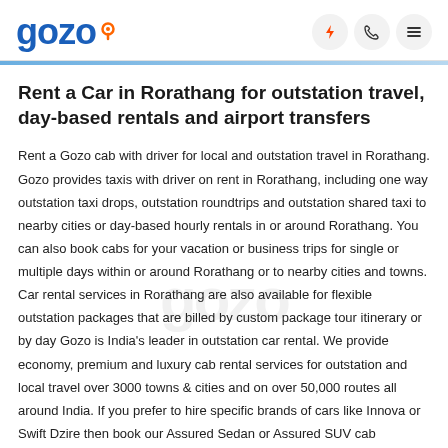gozo
Rent a Car in Rorathang for outstation travel, day-based rentals and airport transfers
Rent a Gozo cab with driver for local and outstation travel in Rorathang. Gozo provides taxis with driver on rent in Rorathang, including one way outstation taxi drops, outstation roundtrips and outstation shared taxi to nearby cities or day-based hourly rentals in or around Rorathang. You can also book cabs for your vacation or business trips for single or multiple days within or around Rorathang or to nearby cities and towns. Car rental services in Rorathang are also available for flexible outstation packages that are billed by custom package tour itinerary or by day Gozo is India's leader in outstation car rental. We provide economy, premium and luxury cab rental services for outstation and local travel over 3000 towns & cities and on over 50,000 routes all around India. If you prefer to hire specific brands of cars like Innova or Swift Dzire then book our Assured Sedan or Assured SUV cab categories. You are guaranteed a